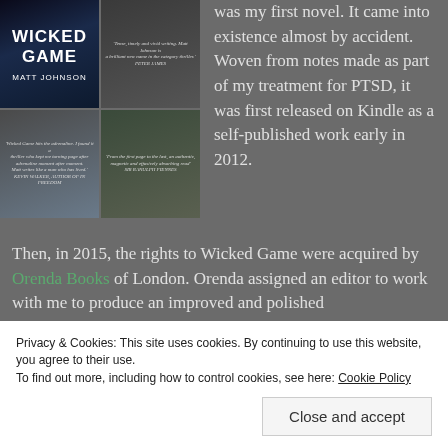[Figure (photo): Book cover for 'Wicked Game' by Matt Johnson (top left) and three photo portraits - author and other individuals - arranged in a 2x2 grid]
was my first novel. It came into existence almost by accident. Woven from notes made as part of my treatment for PTSD, it was first released on Kindle as a self-published work early in 2012.
Then, in 2015, the rights to Wicked Game were acquired by Orenda Books of London. Orenda assigned an editor to work with me to produce an improved and polished
Privacy & Cookies: This site uses cookies. By continuing to use this website, you agree to their use.
To find out more, including how to control cookies, see here: Cookie Policy
Close and accept